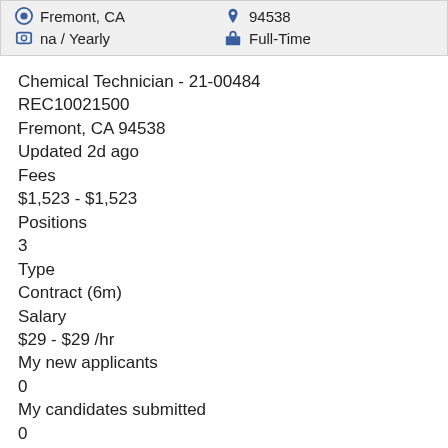Fremont, CA   94538   na / Yearly   Full-Time
Chemical Technician - 21-00484
REC10021500
Fremont, CA 94538
Updated 2d ago
Fees
$1,523 - $1,523
Positions
3
Type
Contract (6m)
Salary
$29 - $29 /hr
My new applicants
0
My candidates submitted
0
Total invited candidates
1